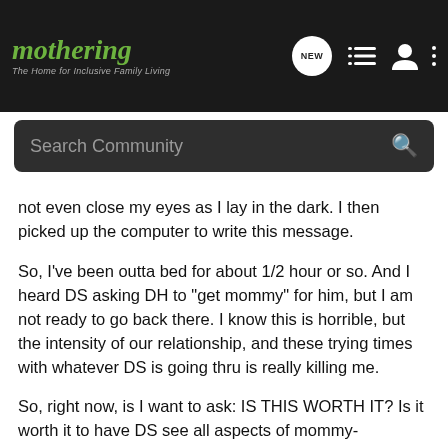mothering – The Home for Inclusive Family Living
not even close my eyes as I lay in the dark. I then picked up the computer to write this message.
So, I've been outta bed for about 1/2 hour or so. And I heard DS asking DH to "get mommy" for him, but I am not ready to go back there. I know this is horrible, but the intensity of our relationship, and these trying times with whatever DS is going thru is really killing me.
So, right now, is I want to ask: IS THIS WORTH IT? Is it worth it to have DS see all aspects of mommy-unfortunately the spent, exhausted, mean mommy right now, in the hopes that he'll somehow be better off in the future? If he was in a crib, or didn't b'feed, he wouldn't know how to push my buttons so well, wouldn't know the limits (or not know) the limits of my body and